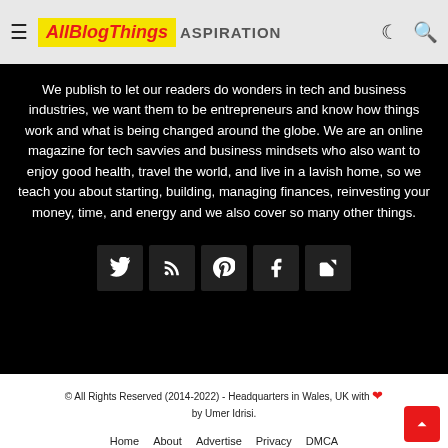AllBlogThings ASPIRATION
We publish to let our readers do wonders in tech and business industries, we want them to be entrepreneurs and know how things work and what is being changed around the globe. We are an online magazine for tech savvies and business mindsets who also want to enjoy good health, travel the world, and live in a lavish home, so we teach you about starting, building, managing finances, reinvesting your money, time, and energy and we also cover so many other things.
[Figure (other): Social media icon buttons: Twitter, RSS, Pinterest, Facebook, Share]
© All Rights Reserved (2014-2022) - Headquarters in Wales, UK with ❤ by Umer Idrisi.
Home   About   Advertise   Privacy   DMCA